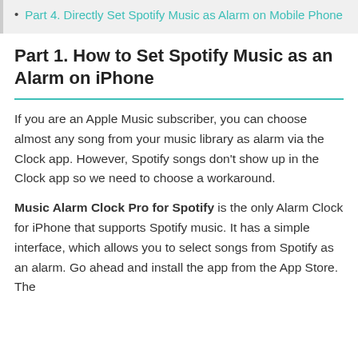Part 4. Directly Set Spotify Music as Alarm on Mobile Phone
Part 1. How to Set Spotify Music as an Alarm on iPhone
If you are an Apple Music subscriber, you can choose almost any song from your music library as alarm via the Clock app. However, Spotify songs don't show up in the Clock app so we need to choose a workaround.
Music Alarm Clock Pro for Spotify is the only Alarm Clock for iPhone that supports Spotify music. It has a simple interface, which allows you to select songs from Spotify as an alarm. Go ahead and install the app from the App Store. The